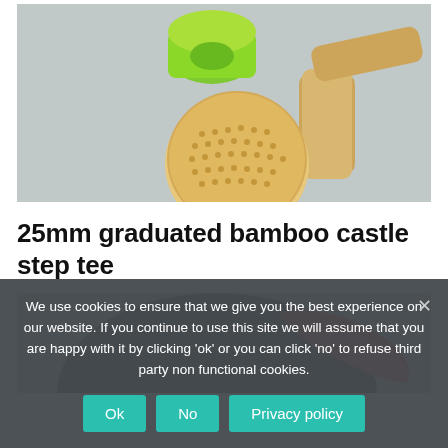[Figure (photo): Photo of a 25mm graduated bamboo castle step tee — a green plastic funnel-shaped top piece with a bamboo cylindrical stem, viewed from a slight angle on a grey background.]
25mm graduated bamboo castle step tee
[Figure (photo): Partial photo of a red object on a dark background, partially obscured by the cookie consent overlay.]
We use cookies to ensure that we give you the best experience on our website. If you continue to use this site we will assume that you are happy with it by clicking 'ok' or you can click 'no' to refuse third party non functional cookies.